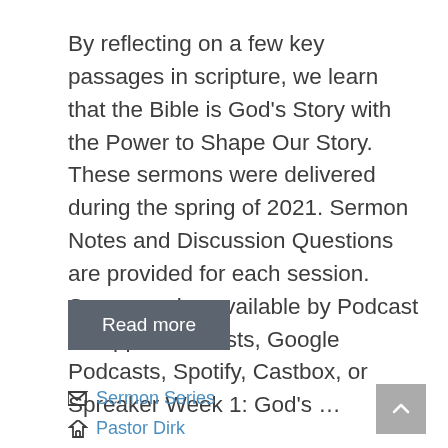By reflecting on a few key passages in scripture, we learn that the Bible is God's Story with the Power to Shape Our Story. These sermons were delivered during the spring of 2021. Sermon Notes and Discussion Questions are provided for each session. Sermons also available by Podcast on Apple Podcasts, Google Podcasts, Spotify, Castbox, or Spreaker Week 1: God's …
Read more
Sermon Series
Pastor Dirk